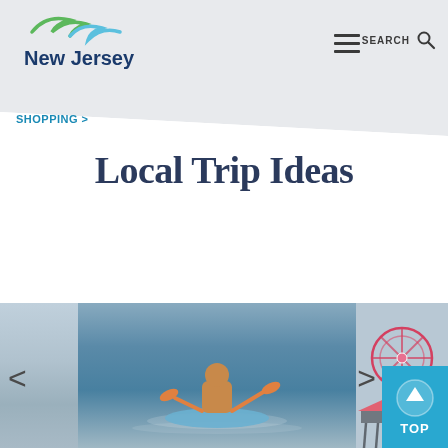[Figure (logo): New Jersey tourism logo with green wave/leaf and blue wave design, text 'New Jersey' in dark blue]
SHOPPING >
Local Trip Ideas
[Figure (photo): Carousel of travel photos: misty water/sky scene on left, person kayaking in blue water in center, pier with ferris wheel and amusement rides on right]
< >  TOP